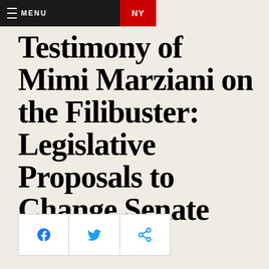MENU NY
Testimony of Mimi Marziani on the Filibuster: Legislative Proposals to Change Senate Procedure
[Figure (infographic): Social sharing buttons: Facebook, Twitter, and share icon]